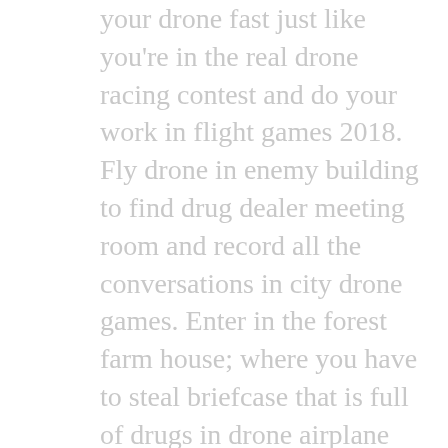your drone fast just like you're in the real drone racing contest and do your work in flight games 2018. Fly drone in enemy building to find drug dealer meeting room and record all the conversations in city drone games. Enter in the forest farm house; where you have to steal briefcase that is full of drugs in drone airplane simulator. Go on mountain enemy buildings to dodge all the commando guards and fix explosive bombs on building in aeroplane simulator 2018. Put poison on water tank with the help of flying drone and kill the boss who betrayed you in drone pilot games. A lot of thrilling and attractive missions are available for you with strong story scenario in this flight simulator 2018. Don't hit your airplane drone with walls or other surface otherwise flying drone power will be reduced in drone airplane